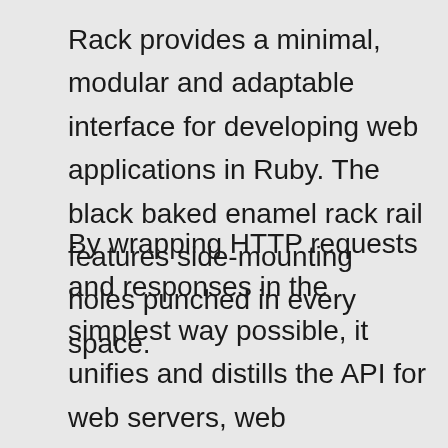Rack provides a minimal, modular and adaptable interface for developing web applications in Ruby. The black baked enamel rack rail features side-mounting holes punched in every space.
By wrapping HTTP requests and responses in the simplest way possible, it unifies and distills the API for web servers, web frameworks, and software in between (the so-called middleware) into a . For the perfect EIA rack rails to meet the needs of your equipment rack, frame, cabinet, or rack enclosure, look no further than our impressive selection of studio rack rails and more. These steel and aluminum rail rails are offered in a number of sizes and configurations to easily retrofit into almost any equipment rack. A Rack rail, or rack